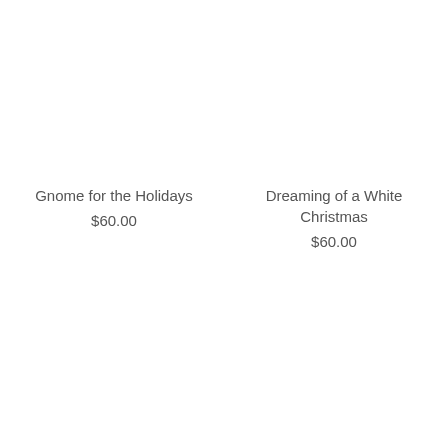Gnome for the Holidays
$60.00
Dreaming of a White Christmas
$60.00